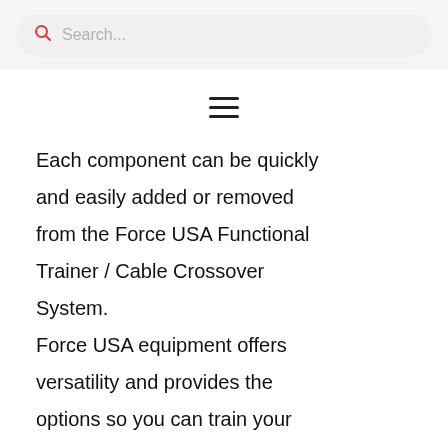Search...
Each component can be quickly and easily added or removed from the Force USA Functional Trainer / Cable Crossover System. Force USA equipment offers versatility and provides the options so you can train your way. Force USA American innovation and design. Superior quality;